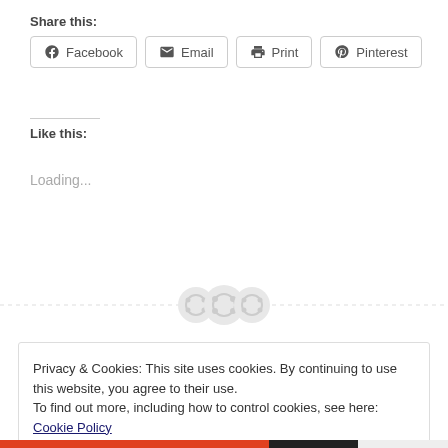Share this:
[Figure (screenshot): Social share buttons: Facebook, Email, Print, Pinterest]
Like this:
Loading...
[Figure (illustration): Three circular button/spool icons on a dashed horizontal divider line]
Privacy & Cookies: This site uses cookies. By continuing to use this website, you agree to their use.
To find out more, including how to control cookies, see here: Cookie Policy
Close and accept